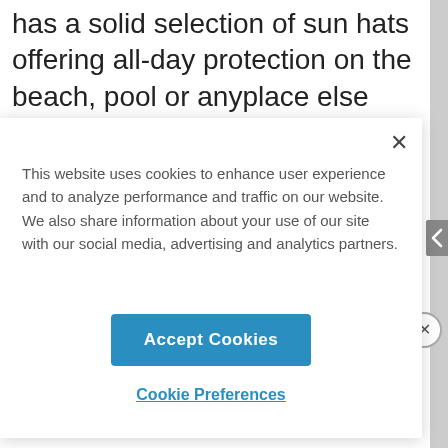has a solid selection of sun hats offering all-day protection on the beach, pool or anyplace else you
This website uses cookies to enhance user experience and to analyze performance and traffic on our website. We also share information about your use of our site with our social media, advertising and analytics partners.
Accept Cookies
Cookie Preferences
ADVERTISEMENT
By proceeding, you agree to our Privacy Policy and Terms of Use.